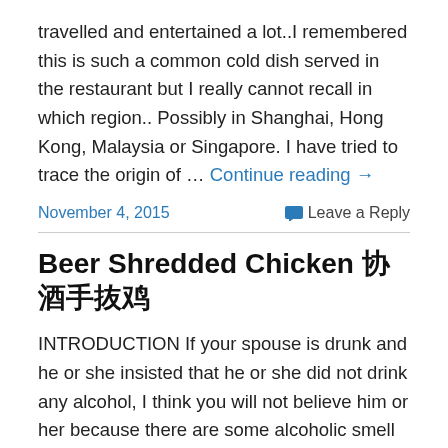travelled and entertained a lot..I remembered this is such a common cold dish served in the restaurant but I really cannot recall in which region.. Possibly in Shanghai, Hong Kong, Malaysia or Singapore. I have tried to trace the origin of … Continue reading →
November 4, 2015   Leave a Reply
Beer Shredded Chicken 啤酒手撕鸡
INTRODUCTION If your spouse is drunk and he or she insisted that he or she did not drink any alcohol, I think you will not believe him or her because there are some alcoholic smell in the shirts or body… The alcoholic smell can be rather strong and it is the same when you use alcohol to cook a … Continue reading →